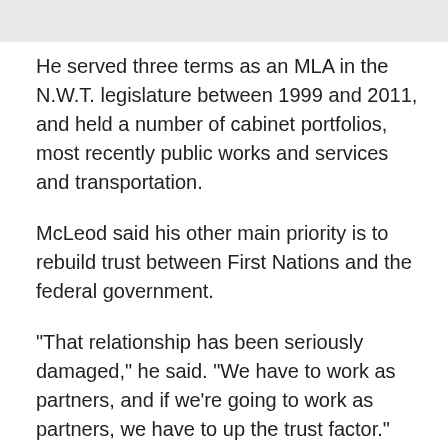He served three terms as an MLA in the N.W.T. legislature between 1999 and 2011, and held a number of cabinet portfolios, most recently public works and services and transportation.
McLeod said his other main priority is to rebuild trust between First Nations and the federal government.
"That relationship has been seriously damaged," he said. "We have to work as partners, and if we're going to work as partners, we have to up the trust factor."
He said the territorial government has been working hard, while the Harper government "stood with its back to the wall."